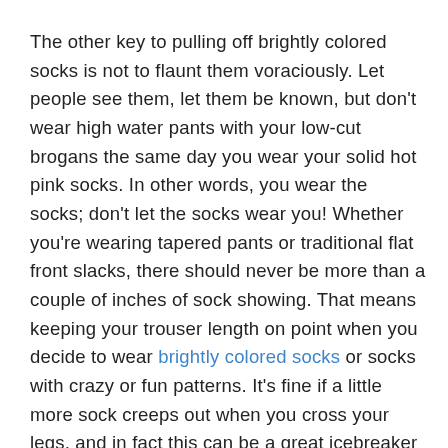The other key to pulling off brightly colored socks is not to flaunt them voraciously. Let people see them, let them be known, but don't wear high water pants with your low-cut brogans the same day you wear your solid hot pink socks. In other words, you wear the socks; don't let the socks wear you! Whether you're wearing tapered pants or traditional flat front slacks, there should never be more than a couple of inches of sock showing. That means keeping your trouser length on point when you decide to wear brightly colored socks or socks with crazy or fun patterns. It's fine if a little more sock creeps out when you cross your legs, and in fact this can be a great icebreaker when new hires come aboard.